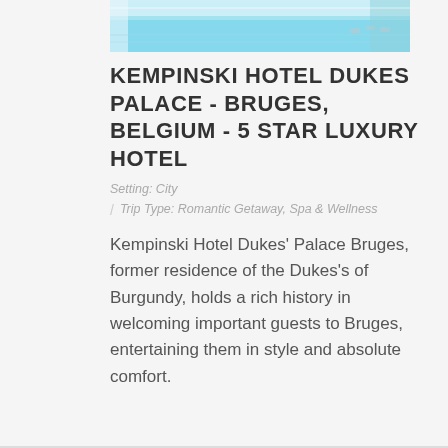[Figure (photo): Indoor swimming pool with turquoise water, white walls and ceiling, lounge chairs visible at far end — Kempinski Hotel Dukes Palace Bruges]
KEMPINSKI HOTEL DUKES PALACE - BRUGES, BELGIUM - 5 STAR LUXURY HOTEL
Setting: City
/ Trip Type: Romantic Getaway, Spa & Wellness
Kempinski Hotel Dukes' Palace Bruges, former residence of the Dukes's of Burgundy, holds a rich history in welcoming important guests to Bruges, entertaining them in style and absolute comfort.